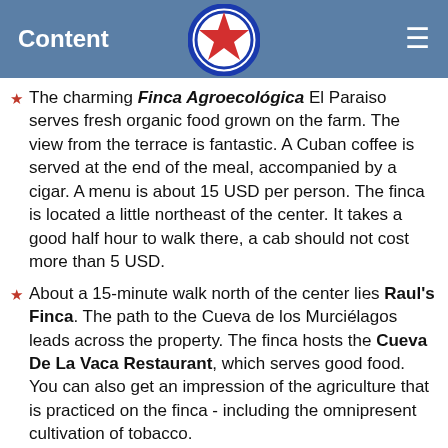Content
The charming Finca Agroecológica El Paraiso serves fresh organic food grown on the farm. The view from the terrace is fantastic. A Cuban coffee is served at the end of the meal, accompanied by a cigar. A menu is about 15 USD per person. The finca is located a little northeast of the center. It takes a good half hour to walk there, a cab should not cost more than 5 USD.
About a 15-minute walk north of the center lies Raul's Finca. The path to the Cueva de los Murciélagos leads across the property. The finca hosts the Cueva De La Vaca Restaurant, which serves good food. You can also get an impression of the agriculture that is practiced on the finca - including the omnipresent cultivation of tobacco.
The small Casa Verde family restaurant, is located on a hill near the hotel Horizontes Los Jazmines. The restaurant has only a few tables on a small terrace.
La Casa de Don Tomas Restaurant is located in the center of Viñales. It is situated in a two-story historic …